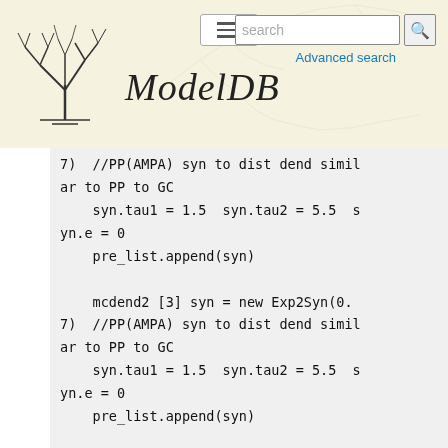[Figure (screenshot): ModelDB website header with neuron tree logo, hamburger menu, search bar, and 'Advanced search' link. Large italic 'ModelDB' text with neuron tree background pattern.]
7)  //PP(AMPA) syn to dist dend similar to PP to GC
    syn.tau1 = 1.5  syn.tau2 = 5.5  syn.e = 0
    pre_list.append(syn)

    mcdend2 [3] syn = new Exp2Syn(0.7)  //PP(AMPA) syn to dist dend similar to PP to GC
    syn.tau1 = 1.5  syn.tau2 = 5.5  syn.e = 0
    pre_list.append(syn)

    mcdend3 [3] syn = new Exp2Syn(0.7)  //PP(AMPA) syn to dist dend similar to PP to GC
    syn.tau1 = 1.5  syn.tau2 = 5.5  syn.e = 0
    pre_list.append(syn)

    mcdend4 [3] syn = new Exp2Syn(0.